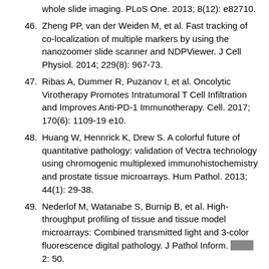whole slide imaging. PLoS One. 2013; 8(12): e82710.
46. Zheng PP, van der Weiden M, et al. Fast tracking of co-localization of multiple markers by using the nanozoomer slide scanner and NDPViewer. J Cell Physiol. 2014; 229(8): 967-73.
47. Ribas A, Dummer R, Puzanov I, et al. Oncolytic Virotherapy Promotes Intratumoral T Cell Infiltration and Improves Anti-PD-1 Immunotherapy. Cell. 2017; 170(6): 1109-19 e10.
48. Huang W, Hennrick K, Drew S. A colorful future of quantitative pathology: validation of Vectra technology using chromogenic multiplexed immunohistochemistry and prostate tissue microarrays. Hum Pathol. 2013; 44(1): 29-38.
49. Nederlof M, Watanabe S, Burnip B, et al. High-throughput profiling of tissue and tissue model microarrays: Combined transmitted light and 3-color fluorescence digital pathology. J Pathol Inform. 2011; 2: 50.